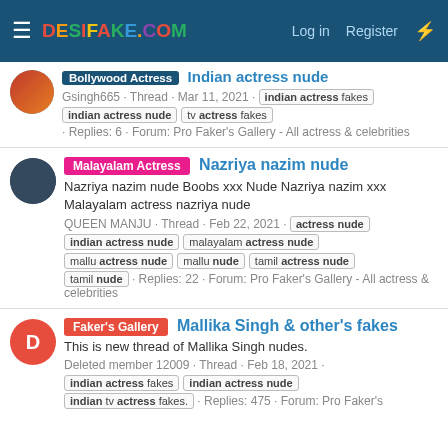DESIFAKE.COM — Log in | Register
Bollywood Actress  Indian Actress Nude — Gsingh665 · Thread · Mar 11, 2021 · indian actress fakes | indian actress nude | tv actress fakes · Replies: 6 · Forum: Pro Faker's Gallery - All actress & celebrities
Malayalam Actress  Nazriya nazim nude — Nazriya nazim nude Boobs xxx Nude Nazriya nazim xxx Malayalam actress nazriya nude — QUEEN MANJU · Thread · Feb 22, 2021 · actress nude | indian actress nude | malayalam actress nude | mallu actress nude | mallu nude | tamil actress nude | tamil nude · Replies: 22 · Forum: Pro Faker's Gallery - All actress & celebrities
Faker's Gallery  Mallika Singh & other's fakes — This is new thread of Mallika Singh nudes. — Deleted member 12009 · Thread · Feb 18, 2021 · indian actress fakes | indian actress nude | indian tv actress fakes. · Replies: 475 · Forum: Pro Faker's